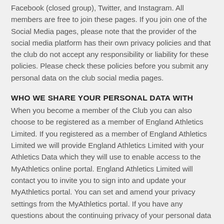Facebook (closed group), Twitter, and Instagram. All members are free to join these pages. If you join one of the Social Media pages, please note that the provider of the social media platform has their own privacy policies and that the club do not accept any responsibility or liability for these policies. Please check these policies before you submit any personal data on the club social media pages.
WHO WE SHARE YOUR PERSONAL DATA WITH
When you become a member of the Club you can also choose to be registered as a member of England Athletics Limited. If you registered as a member of England Athletics Limited we will provide England Athletics Limited with your Athletics Data which they will use to enable access to the MyAthletics online portal. England Athletics Limited will contact you to invite you to sign into and update your MyAthletics portal. You can set and amend your privacy settings from the MyAthletics portal. If you have any questions about the continuing privacy of your personal data when it is shared with England Athletics Limited, please contact dataprotection@englandathletics.org